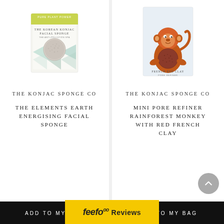[Figure (photo): Product image: The Korean Konjac Facial Sponge box - green and white illustrated box with geometric pattern and a round sponge visible]
THE KONJAC SPONGE CO
THE ELEMENTS EARTH ENERGISING FACIAL SPONGE
£9.99
ADD TO MY BAG
[Figure (photo): Product image: Mini Pore Refiner Rainforest Monkey with Red French Clay - illustrated card with an orange monkey holding a round red clay konjac sponge, text reads FRENCH RED CLAY PORE REFINER]
THE KONJAC SPONGE CO
MINI PORE REFINER RAINFOREST MONKEY WITH RED FRENCH CLAY
£6.99
ADD TO MY BAG
feefo Reviews